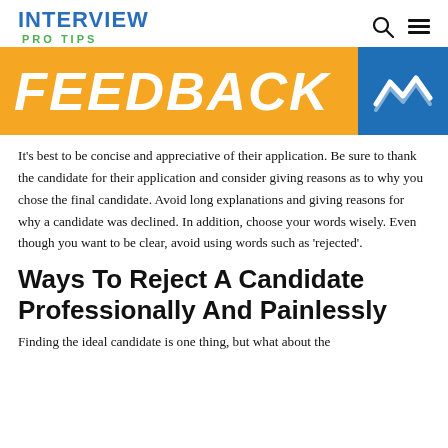INTERVIEW PRO TIPS
[Figure (illustration): Orange banner image with large white bold italic text 'FEEDBACK' and a blue box on the right containing a white stylized M/waves logo]
It’s best to be concise and appreciative of their application. Be sure to thank the candidate for their application and consider giving reasons as to why you chose the final candidate. Avoid long explanations and giving reasons for why a candidate was declined. In addition, choose your words wisely. Even though you want to be clear, avoid using words such as ‘rejected’.
Ways To Reject A Candidate Professionally And Painlessly
Finding the ideal candidate is one thing, but what about the